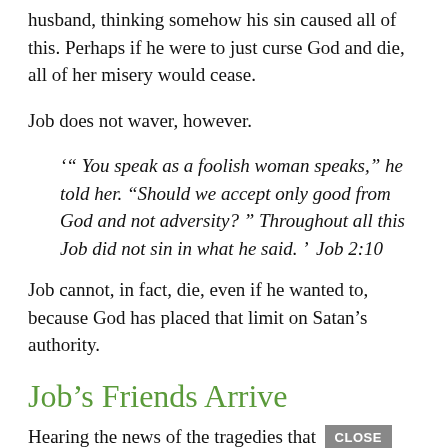husband, thinking somehow his sin caused all of this. Perhaps if he were to just curse God and die, all of her misery would cease.
Job does not waver, however.
'“ You speak as a foolish woman speaks,” he told her. “Should we accept only good from God and not adversity? ” Throughout all this Job did not sin in what he said. ’  Job 2:10
Job cannot, in fact, die, even if he wanted to, because God has placed that limit on Satan’s authority.
Job’s Friends Arrive
Hearing the news of the tragedies that have occurred in their friend’s life, Eliphaz, Bildad, and Zophar traveled from their home countries, Job and off